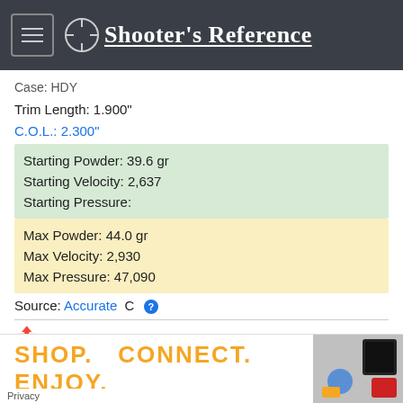Shooter's Reference
Case: HDY
Trim Length: 1.900"
C.O.L.: 2.300"
Starting Powder: 39.6 gr
Starting Velocity: 2,637
Starting Pressure:
Max Powder: 44.0 gr
Max Velocity: 2,930
Max Pressure: 47,090
Source: Accurate C
GR.: 125 gr
Bullet Type: HP/FN (Sierra) Diameter: 0.308"
SHOP. CONNECT. ENJOY.
Privacy